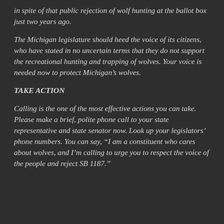in spite of that public rejection of wolf hunting at the ballot box just two years ago.
The Michigan legislature should heed the voice of its citizens, who have stated in no uncertain terms that they do not support the recreational hunting and trapping of wolves. Your voice is needed now to protect Michigan’s wolves.
TAKE ACTION
Calling is the one of the most effective actions you can take. Please make a brief, polite phone call to your state representative and state senator now. Look up your legislators’ phone numbers. You can say, “I am a constituent who cares about wolves, and I’m calling to urge you to respect the voice of the people and reject SB 1187.”